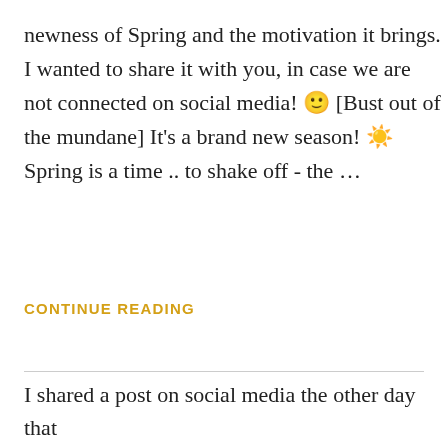newness of Spring and the motivation it brings. I wanted to share it with you, in case we are not connected on social media! 🙂 [Bust out of the mundane] It's a brand new season! ☀️Spring is a time .. to shake off - the …
CONTINUE READING
Privacy & Cookies: This site uses cookies. By continuing to use this website, you agree to their use.
To find out more, including how to control cookies, see here: Cookie Policy
[Close and accept]
I shared a post on social media the other day that